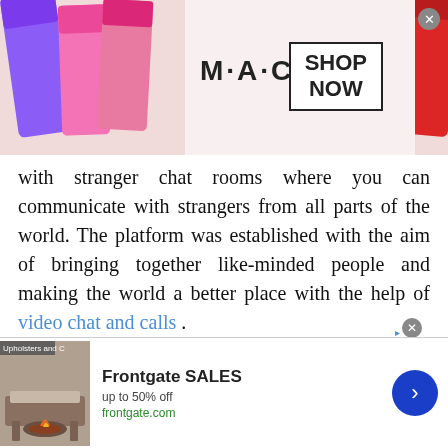[Figure (photo): MAC cosmetics advertisement banner showing colorful lipsticks (purple, pink, red) with MAC logo and a 'SHOP NOW' box with close button]
with stranger chat rooms where you can communicate with strangers from all parts of the world. The platform was established with the aim of bringing together like-minded people and making the world a better place with the help of video chat and calls .
Since the possibility of face-to-face interactions has now become extremely limited, how do you meet new people? The era of sitting at a bar and chatting a stranger up has come to an end. Partly because of the pandemic but mostly because of the introduction of video conferencing
[Figure (screenshot): Frontgate SALES advertisement banner at bottom of page with furniture image, 'up to 50% off', frontgate.com URL, and blue arrow button]